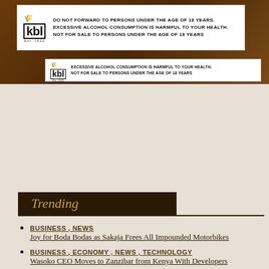[Figure (advertisement): KBL (Kenya Breweries Limited) advertisement banner with white box containing KBL logo and alcohol warning text: DO NOT FORWARD TO PERSONS UNDER THE AGE OF 18 YEARS. EXCESSIVE ALCOHOL CONSUMPTION IS HARMFUL TO YOUR HEALTH. NOT FOR SALE TO PERSONS UNDER THE AGE OF 18 YEARS. A second smaller KBL logo with warning text below.]
Trending
BUSINESS , NEWS
Joy for Boda Bodas as Sakaja Frees All Impounded Motorbikes
BUSINESS , ECONOMY , NEWS , TECHNOLOGY
Wasoko CEO Moves to Zanzibar from Kenya With Developers
Person of Interest
Goodbye Kethi Kilonzo, hello Melissa Ng'ania